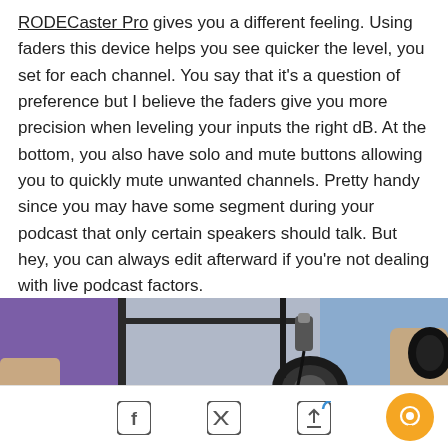RODECaster Pro gives you a different feeling. Using faders this device helps you see quicker the level, you set for each channel. You say that it's a question of preference but I believe the faders give you more precision when leveling your inputs the right dB. At the bottom, you also have solo and mute buttons allowing you to quickly mute unwanted channels. Pretty handy since you may have some segment during your podcast that only certain speakers should talk. But hey, you can always edit afterward if you're not dealing with live podcast factors.
[Figure (photo): A podcast studio photo showing microphone equipment, camera lens, and two people (partially visible) in front of a purple/blue backdrop.]